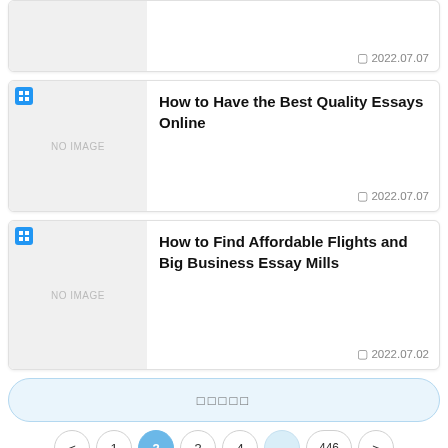[Figure (screenshot): Article card (top, partial): no image thumbnail, date 2022.07.07]
2022.07.07
[Figure (screenshot): Article card: 'How to Have the Best Quality Essays Online', NO IMAGE thumbnail, date 2022.07.07]
How to Have the Best Quality Essays Online
2022.07.07
[Figure (screenshot): Article card: 'How to Find Affordable Flights and Big Business Essay Mills', NO IMAGE thumbnail, date 2022.07.02]
How to Find Affordable Flights and Big Business Essay Mills
2022.07.02
□□□□□
< 1 2 3 4 ... 446 >